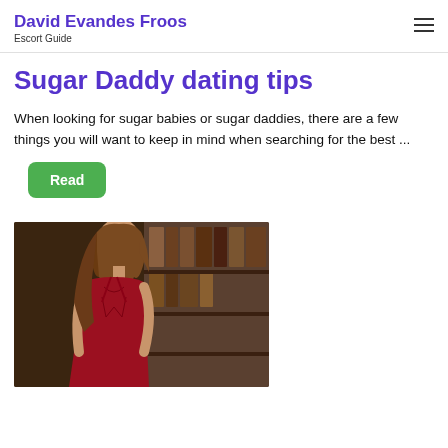David Evandes Froos
Escort Guide
Sugar Daddy dating tips
When looking for sugar babies or sugar daddies, there are a few things you will want to keep in mind when searching for the best ...
Read
[Figure (photo): Woman in a red lace dress standing in front of bookshelves]